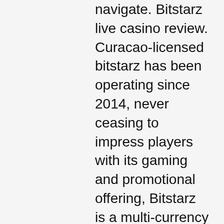navigate. Bitstarz live casino review. Curacao-licensed bitstarz has been operating since 2014, never ceasing to impress players with its gaming and promotional offering, Bitstarz is a multi-currency online casino that supports gambling with a host of fiat and cryptocurrency options, with a unique currency converter to instantly. There is a list of games that are excluded from the deposit bonuses,. The casino has a great collection of table games which expands to live dealer tables powered by evolution gaming and vivo gaming. There are also some exclusives. Bitstarz casino review ► get your exclusive bonus! learn about games, promotions, loyalty program and much more! Does not offer sports betting or esports games; players can only withdraw via the same deposit method; not all games accept cryptocurrency. Simply put, bitstarz is the best bitcoin casino online. With 3200 games,